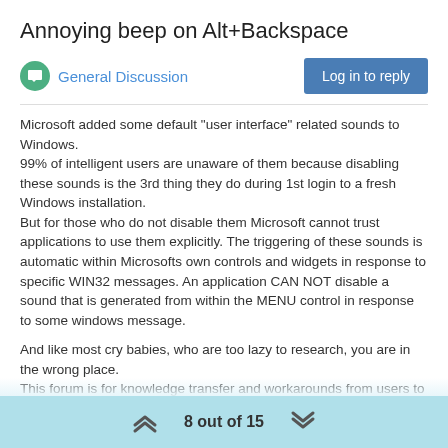Annoying beep on Alt+Backspace
General Discussion
Log in to reply
Microsoft added some default “user interface” related sounds to Windows.
99% of intelligent users are unaware of them because disabling these sounds is the 3rd thing they do during 1st login to a fresh Windows installation.
But for those who do not disable them Microsoft cannot trust applications to use them explicitly. The triggering of these sounds is automatic within Microsofts own controls and widgets in response to specific WIN32 messages. An application CAN NOT disable a sound that is generated from within the MENU control in response to some windows message.

And like most cry babies, who are too lazy to research, you are in the wrong place.
This forum is for knowledge transfer and workarounds from users to users.
If you want to fix it then...
8 out of 15